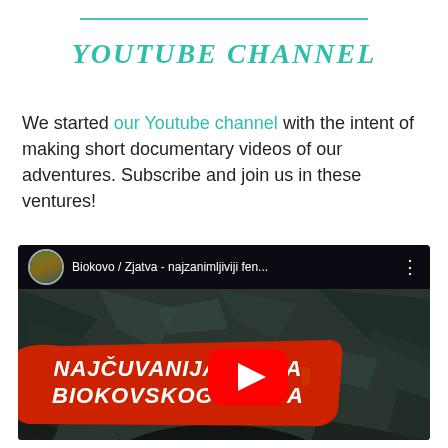YOUTUBE CHANNEL
We started our Youtube channel with the intent of making short documentary videos of our adventures. Subscribe and join us in these ventures!
[Figure (screenshot): YouTube video thumbnail showing a cave scene with red banner text 'NAJČUVANIJA TAJNA BIOKOVSKOG GORJA' and a YouTube play button. Video title bar shows 'Biokovo / Zjatva - najzanimljiviji fen...']